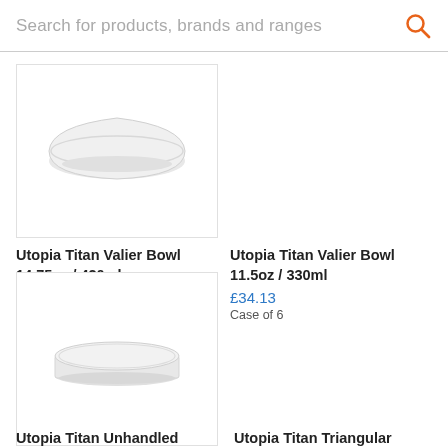Search for products, brands and ranges
[Figure (photo): White ceramic bowl, Utopia Titan Valier Bowl 14.75oz / 420ml]
Utopia Titan Valier Bowl 14.75oz / 420ml
£40.96
Case of 6
[Figure (photo): White ceramic bowl, Utopia Titan Valier Bowl 11.5oz / 330ml]
Utopia Titan Valier Bowl 11.5oz / 330ml
£34.13
Case of 6
[Figure (photo): White ceramic unhandled bowl, Utopia Titan Unhandled]
Utopia Titan Unhandled
[Figure (photo): White ceramic triangular plate/dish, Utopia Titan Triangular]
Utopia Titan Triangular